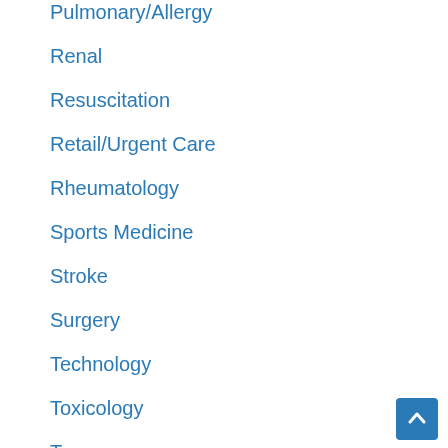Pulmonary/Allergy
Renal
Resuscitation
Retail/Urgent Care
Rheumatology
Sports Medicine
Stroke
Surgery
Technology
Toxicology
Trauma
Ultrasound
Urology
Venous Thromboembolism
Wellness